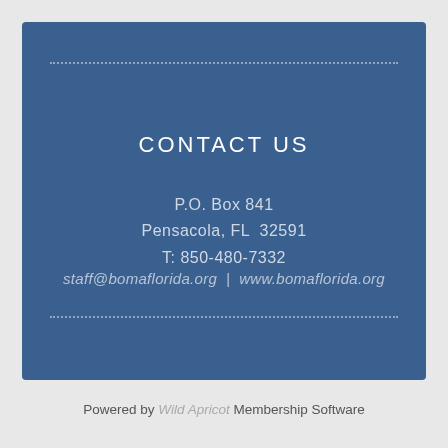CONTACT US
P.O. Box 841
Pensacola, FL  32591
T: 850-480-7332
staff@bomaflorida.org  |  www.bomaflorida.org
Powered by Wild Apricot Membership Software